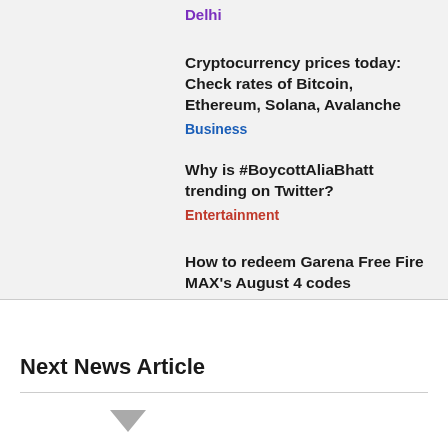Delhi
Cryptocurrency prices today: Check rates of Bitcoin, Ethereum, Solana, Avalanche
Business
Why is #BoycottAliaBhatt trending on Twitter?
Entertainment
How to redeem Garena Free Fire MAX's August 4 codes
Technology
Next News Article